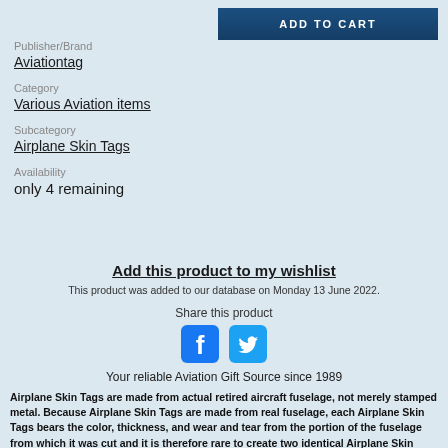ADD TO CART
Publisher/Brand
Aviationtag
Category
Various Aviation items
Subcategory
Airplane Skin Tags
Availability
only 4 remaining
Add this product to my wishlist
This product was added to our database on Monday 13 June 2022.
Share this product
[Figure (illustration): Facebook and Twitter social media icons]
Your reliable Aviation Gift Source since 1989
Airplane Skin Tags are made from actual retired aircraft fuselage, not merely stamped metal. Because Airplane Skin Tags are made from real fuselage, each Airplane Skin Tags bears the color, thickness, and wear and tear from the portion of the fuselage from which it was cut and it is therefore rare to create two identical Airplane Skin Tags. These variations and imperfections are not product flaws. They